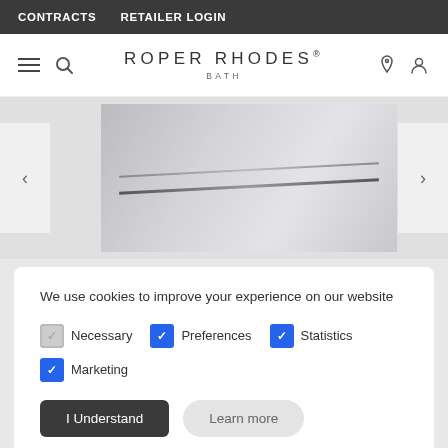CONTRACTS   RETAILER LOGIN
[Figure (logo): Roper Rhodes Bath logo with hamburger menu and search icon on left, location and person icons on right]
[Figure (photo): Close-up product photo of a bathroom cabinet handle — thin dark line handle against light grey/white background, with carousel navigation arrows on left and right]
We use cookies to improve your experience on our website
Necessary (unchecked), Preferences (checked), Statistics (checked)
Marketing (checked)
I Understand   Learn more
Sharp, architectural lines and a compact, spartan form are the